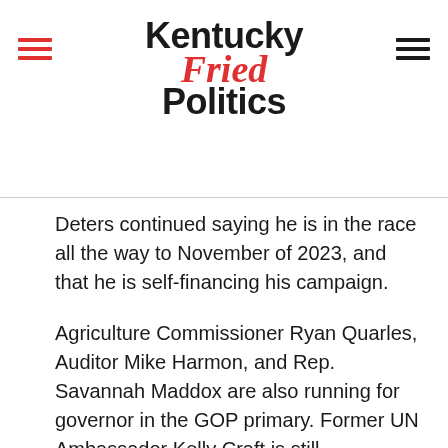Kentucky Fried Politics
Deters continued saying he is in the race all the way to November of 2023, and that he is self-financing his campaign.
Agriculture Commissioner Ryan Quarles, Auditor Mike Harmon, and Rep. Savannah Maddox are also running for governor in the GOP primary. Former UN Ambassador Kelly Craft is still considering the race, as is Somerset Mayor Alan Keck.